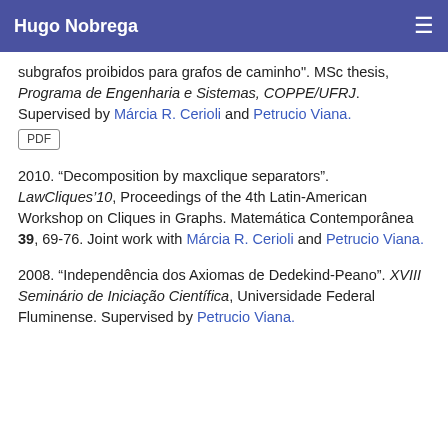Hugo Nobrega
subgrafos proibidos para grafos de caminho". MSc thesis, Programa de Engenharia e Sistemas, COPPE/UFRJ. Supervised by Márcia R. Cerioli and Petrucio Viana.
PDF
2010. “Decomposition by maxclique separators”. LawCliques’10, Proceedings of the 4th Latin-American Workshop on Cliques in Graphs. Matemática Contemporânea 39, 69-76. Joint work with Márcia R. Cerioli and Petrucio Viana.
2008. “Independência dos Axiomas de Dedekind-Peano”. XVIII Seminário de Iniciação Científica, Universidade Federal Fluminense. Supervised by Petrucio Viana.